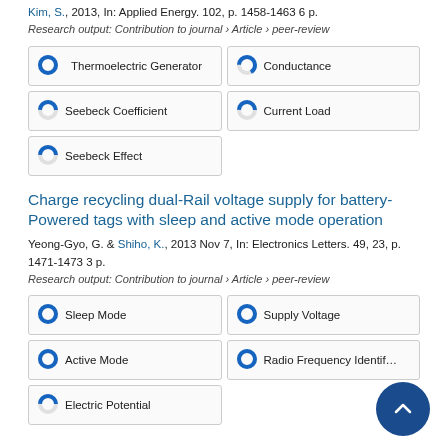Kim, S., 2013, In: Applied Energy. 102, p. 1458-1463 6 p.
Research output: Contribution to journal › Article › peer-review
[Figure (infographic): Keyword badges with donut chart icons: Thermoelectric Generator (100%), Conductance (67%), Seebeck Coefficient (50%), Current Load (50%), Seebeck Effect (50%)]
Charge recycling dual-Rail voltage supply for battery-Powered tags with sleep and active mode operation
Yeong-Gyo, G. & Shiho, K., 2013 Nov 7, In: Electronics Letters. 49, 23, p. 1471-1473 3 p.
Research output: Contribution to journal › Article › peer-review
[Figure (infographic): Keyword badges with donut chart icons: Sleep Mode (100%), Supply Voltage (100%), Active Mode (100%), Radio Frequency Identification (100%), Electric Potential (50%)]